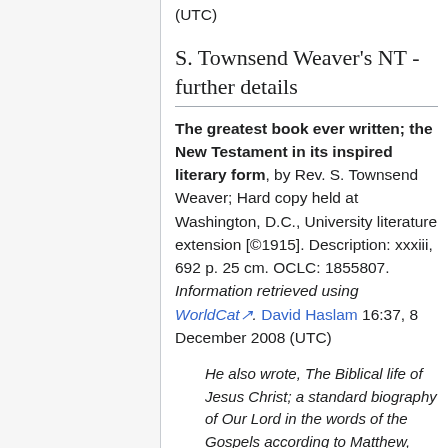(UTC)
S. Townsend Weaver's NT - further details
The greatest book ever written; the New Testament in its inspired literary form, by Rev. S. Townsend Weaver; Hard copy held at Washington, D.C., University literature extension [©1915]. Description: xxxiii, 692 p. 25 cm. OCLC: 1855807. Information retrieved using WorldCat. David Haslam 16:37, 8 December 2008 (UTC)
He also wrote, The Biblical life of Jesus Christ; a standard biography of Our Lord in the words of the Gospels according to Matthew, Mark, Luke and John, harmonized, arranged, displayed, analyzed, located, dated